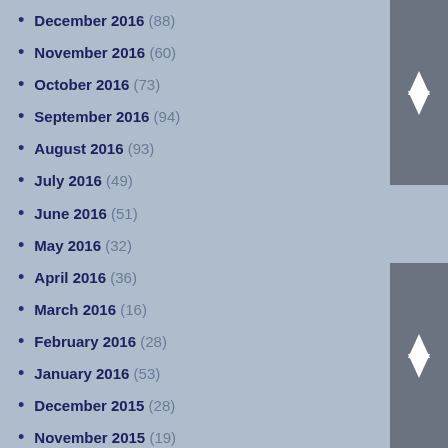December 2016 (88)
November 2016 (60)
October 2016 (73)
September 2016 (94)
August 2016 (93)
July 2016 (49)
June 2016 (51)
May 2016 (32)
April 2016 (36)
March 2016 (16)
February 2016 (28)
January 2016 (53)
December 2015 (28)
November 2015 (19)
October 2015 (11)
September 2015 (6)